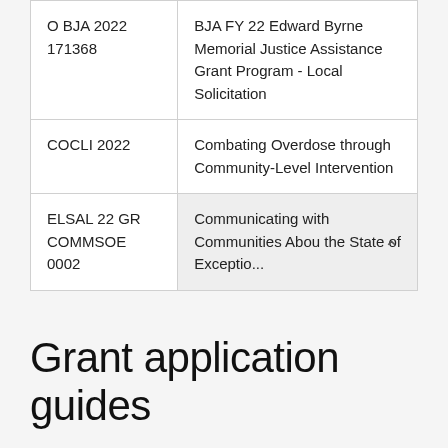| Code | Program Name |
| --- | --- |
| O BJA 2022 171368 | BJA FY 22 Edward Byrne Memorial Justice Assistance Grant Program - Local Solicitation |
| COCLI 2022 | Combating Overdose through Community-Level Intervention |
| ELSAL 22 GR COMMSOE 0002 | Communicating with Communities Abou the State of Exceptio... |
Grant application guides